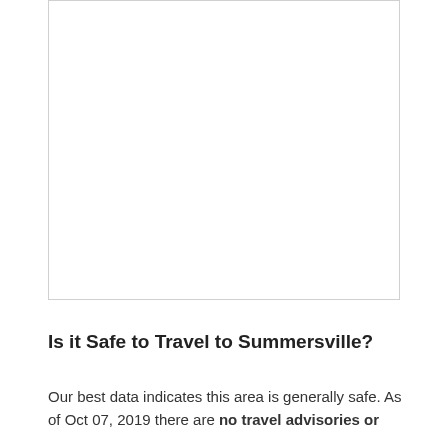[Figure (other): A blank or mostly white image placeholder with a light border]
Is it Safe to Travel to Summersville?
Our best data indicates this area is generally safe. As of Oct 07, 2019 there are no travel advisories or